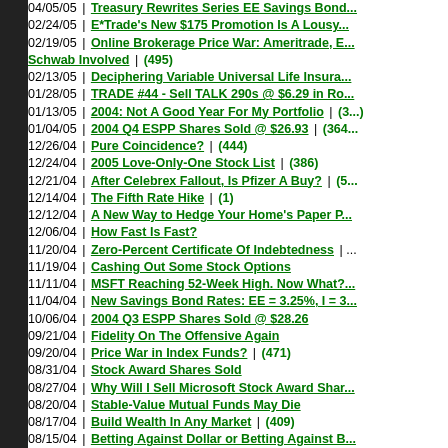04/05/05 | Treasury Rewrites Series EE Savings Bond...
02/24/05 | E*Trade's New $175 Promotion Is A Lousy...
02/19/05 | Online Brokerage Price War: Ameritrade, E... Schwab Involved | (495)
02/13/05 | Deciphering Variable Universal Life Insura...
01/28/05 | TRADE #44 - Sell TALK 290s @ $6.29 in Ro...
01/13/05 | 2004: Not A Good Year For My Portfolio | (3...)
01/04/05 | 2004 Q4 ESPP Shares Sold @ $26.93 | (364...)
12/26/04 | Pure Coincidence? | (444)
12/24/04 | 2005 Love-Only-One Stock List | (386)
12/21/04 | After Celebrex Fallout, Is Pfizer A Buy? | (5...)
12/14/04 | The Fifth Rate Hike | (1)
12/12/04 | A New Way to Hedge Your Home's Paper P...
12/06/04 | How Fast Is Fast?
11/20/04 | Zero-Percent Certificate Of Indebtedness |...
11/19/04 | Cashing Out Some Stock Options
11/11/04 | MSFT Reaching 52-Week High. Now What?...
11/04/04 | New Savings Bond Rates: EE = 3.25%, I = 3...
10/06/04 | 2004 Q3 ESPP Shares Sold @ $28.26
09/21/04 | Fidelity On The Offensive Again
09/20/04 | Price War in Index Funds? | (471)
08/31/04 | Stock Award Shares Sold
08/27/04 | Why Will I Sell Microsoft Stock Award Shar...
08/20/04 | Stable-Value Mutual Funds May Die
08/17/04 | Build Wealth In Any Market | (409)
08/15/04 | Betting Against Dollar or Betting Against B...
08/04/04 | How to Choose: Annuity or One-Time Paym...